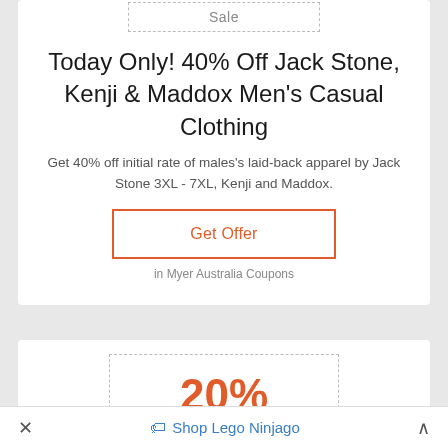Sale
Today Only! 40% Off Jack Stone, Kenji & Maddox Men's Casual Clothing
Get 40% off initial rate of males's laid-back apparel by Jack Stone 3XL - 7XL, Kenji and Maddox.
Get Offer
in Myer Australia Coupons
20%
off
× 🏷 Shop Lego Ninjago ^